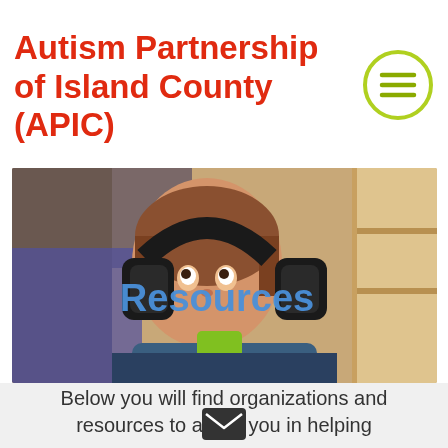Autism Partnership of Island County (APIC)
[Figure (photo): A young child wearing large black headphones and a blue jacket with green vest, looking upward. The word 'Resources' appears overlaid in blue text on the photo.]
Below you will find organizations and resources to assist you in helping